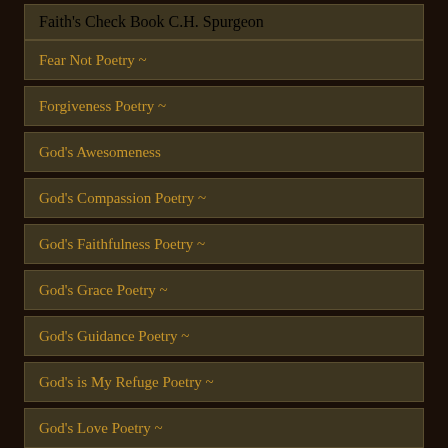Faith's Check Book C.H. Spurgeon
Fear Not Poetry ~
Forgiveness Poetry ~
God's Awesomeness
God's Compassion Poetry ~
God's Faithfulness Poetry ~
God's Grace Poetry ~
God's Guidance Poetry ~
God's is My Refuge Poetry ~
God's Love Poetry ~
God's Mercy Poetry ~
God's Salvation Poetry ~